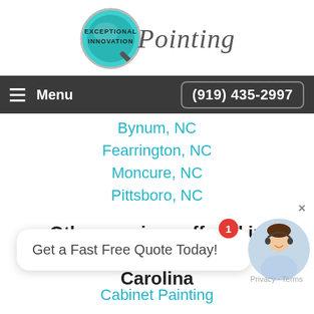[Figure (logo): Exceptional Painting logo: teal compass/magnifier graphic with italic 'Painting' text]
Menu   (919) 435-2997
Bynum, NC
Fearrington, NC
Moncure, NC
Pittsboro, NC
Other services offered in Fearrington Village, North Carolina
Get a Fast Free Quote Today!
Cabinet Painting